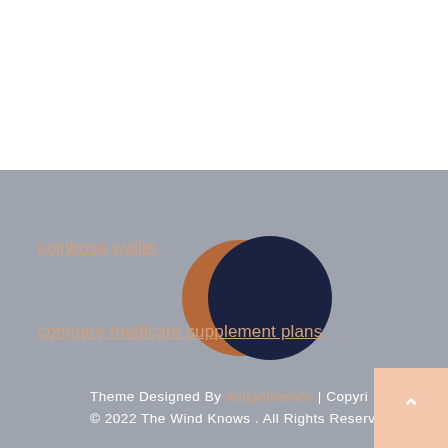coinbase wallet
[Figure (logo): Two overlapping circles: a brown/copper circle partially behind a dark navy circle, forming a crescent moon-like logo]
compare medicare supplement plans
Theme Designed By Amigothemes | Copyright © 2022 The Wind Knows . All Rights Reserved